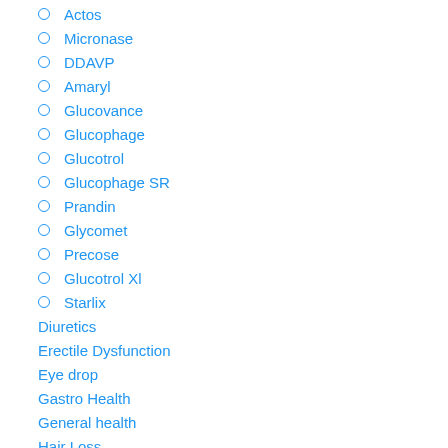Actos
Micronase
DDAVP
Amaryl
Glucovance
Glucophage
Glucotrol
Glucophage SR
Prandin
Glycomet
Precose
Glucotrol Xl
Starlix
Diuretics
Erectile Dysfunction
Eye drop
Gastro Health
General health
Hair Loss